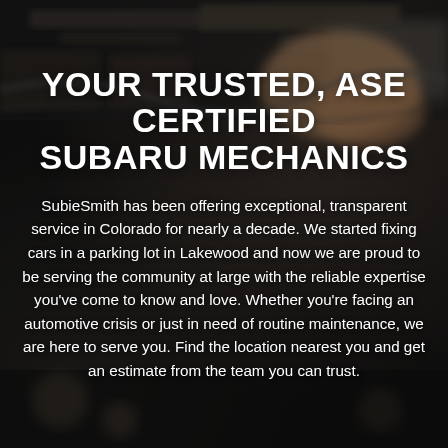[Figure (photo): Dark background photo of a mechanic's hand working on a car engine, with blurred tools and engine parts visible. The image is darkened with a semi-transparent overlay.]
YOUR TRUSTED, ASE CERTIFIED SUBARU MECHANICS
SubieSmith has been offering exceptional, transparent service in Colorado for nearly a decade. We started fixing cars in a parking lot in Lakewood and now we are proud to be serving the community at large with the reliable expertise you've come to know and love. Whether you're facing an automotive crisis or just in need of routine maintenance, we are here to serve you. Find the location nearest you and get an estimate from the team you can trust.